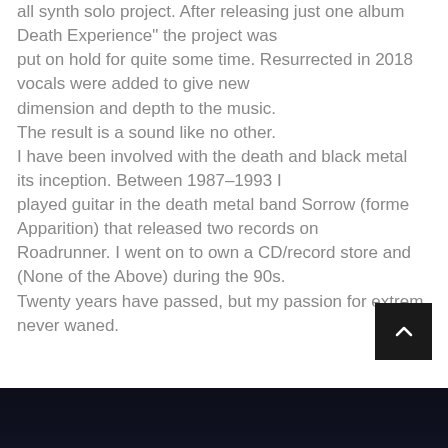all synth solo project. After releasing just one album Death Experience" the project was put on hold for quite some time. Resurrected in 2018 vocals were added to give new dimension and depth to the music. The result is a sound like no other. I have been involved with the death and black metal its inception. Between 1987–1993 I played guitar in the death metal band Sorrow (forme Apparition) that released two records on Roadrunner. I went on to own a CD/record store and (None of the Above) during the 90s. Twenty years have passed, but my passion for extrem never waned.
[Figure (other): Dark bar at bottom of page showing beginning of an image with dark blue/black tones]